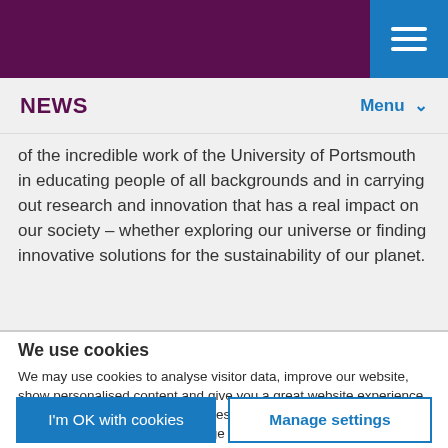NEWS   Menu
of the incredible work of the University of Portsmouth in educating people of all backgrounds and in carrying out research and innovation that has a real impact on our society – whether exploring our universe or finding innovative solutions for the sustainability of our planet.
We use cookies
We may use cookies to analyse visitor data, improve our website, show personalised content and give you a great website experience. For more information about cookies on our site and to tailor the cookies we collect, select 'Manage settings'.
I'm OK with cookies
Manage settings